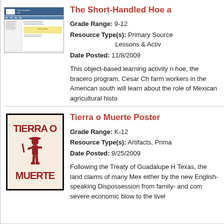[Figure (screenshot): Screenshot of a educational website about The Short-Handled Hoe, showing a blue header, navigation, sidebar text, a yellow section with 'El Cortito' text and a hoe image.]
The Short-Handled Hoe a
Grade Range: 9-12
Resource Type(s): Primary Source Lessons & Activ
Date Posted: 11/8/2009
This object-based learning activity n hoe, the bracero program, Cesar Ch farm workers in the American south will learn about the role of Mexican agricultural histo
[Figure (photo): Tierra o Muerte poster showing a revolutionary figure holding a rifle, with bold red text reading 'TIERRA O MUERTE' on a cream/aged background with black border.]
Tierra o Muerte Poster
Grade Range: K-12
Resource Type(s): Artifacts, Prima
Date Posted: 9/25/2009
Following the Treaty of Guadalupe H Texas, the land claims of many Mex either by the new English-speaking Dispossession from family- and con severe economic blow to the livel